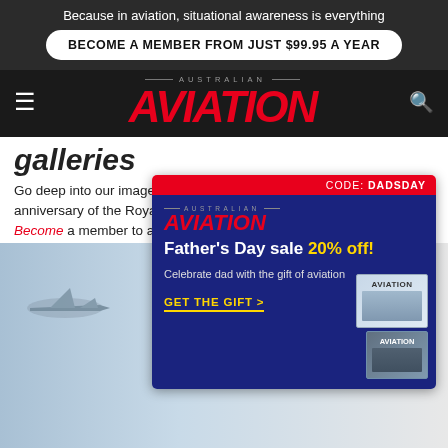Because in aviation, situational awareness is everything
BECOME A MEMBER FROM JUST $99.95 A YEAR
AUSTRALIAN AVIATION
galleries
Go deep into our image archives as we commemorate the 100-year anniversary of the Royal Australian Air Force. Become a member to access our full galleries.
[Figure (advertisement): Australian Aviation Father's Day sale ad: 20% off, CODE: DADSDAY, Celebrate dad with the gift of aviation, GET THE GIFT >, showing aviation magazine covers]
[Figure (advertisement): Cessna SkyCourier ad: HARDWORKING. REVENUE-GENERATING? YES PLEASE. with aircraft silhouette and Cessna SkyCourier logo]